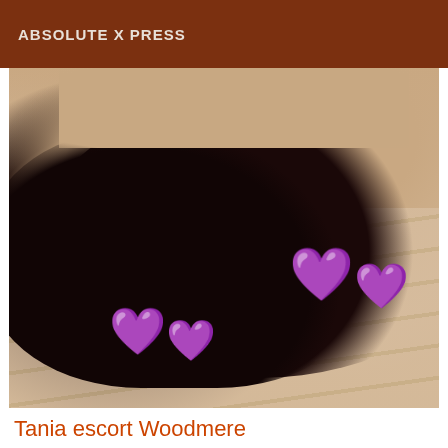ABSOLUTE X PRESS
[Figure (photo): Close-up photo of a person lying down with dark hair spread out, skin visible, on a beige/cream surface with wood grain lines. Purple heart emojis overlaid on the image in two groups.]
Tania escort Woodmere